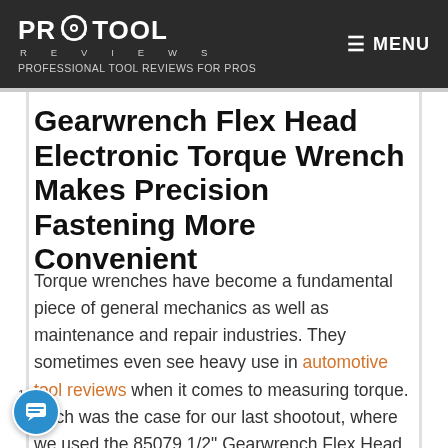PRO TOOL REVIEWS — PROFESSIONAL TOOL REVIEWS FOR PROS | MENU
Gearwrench Flex Head Electronic Torque Wrench Makes Precision Fastening More Convenient
Torque wrenches have become a fundamental piece of general mechanics as well as maintenance and repair industries. They sometimes even see heavy use in automotive tool reviews when it comes to measuring torque. Such was the case for our last shootout, where we used the 85079 1/2" Gearwrench Flex Head Electronic Torque Wrench to measure the torque output in our best impact driver review article. Here's what we learned about this Gearwrench Torque